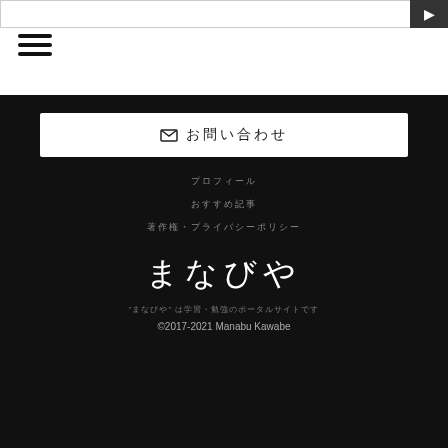[Figure (screenshot): Search bar with input field and dark search button with arrow icon]
[Figure (infographic): Hamburger menu icon with three horizontal lines]
✉ お問い合わせ
プロフィール
おすすめ記事
著作権・プライバシーポリシー
まなびや
"まなびや" は学習・勉強のポータルサイトです
©2017-2021 Manabu Kawabe